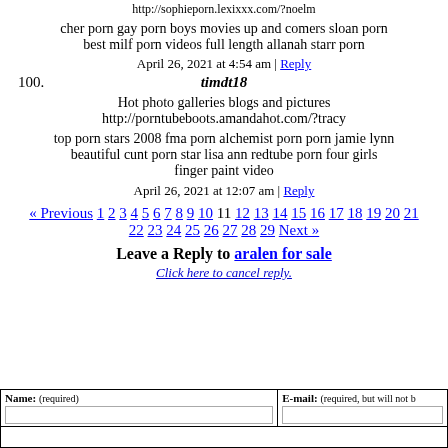http://sophieporn.lexixxx.com/?noelm
cher porn gay porn boys movies up and comers sloan porn best milf porn videos full length allanah starr porn
April 26, 2021 at 4:54 am | Reply
100. timdt18
Hot photo galleries blogs and pictures http://porntubeboots.amandahot.com/?tracy
top porn stars 2008 fma porn alchemist porn porn jamie lynn beautiful cunt porn star lisa ann redtube porn four girls finger paint video
April 26, 2021 at 12:07 am | Reply
« Previous 1 2 3 4 5 6 7 8 9 10 11 12 13 14 15 16 17 18 19 20 21 22 23 24 25 26 27 28 29 Next »
Leave a Reply to aralen for sale
Click here to cancel reply.
| Name: (required) | E-mail: (required, but will not be published) |
| --- | --- |
|  |  |
|  |  |